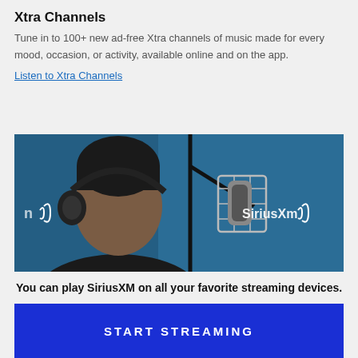Xtra Channels
Tune in to 100+ new ad-free Xtra channels of music made for every mood, occasion, or activity, available online and on the app.
Listen to Xtra Channels
[Figure (photo): A man wearing headphones speaking into a professional studio microphone against a blue SiriusXM branded background]
You can play SiriusXM on all your favorite streaming devices.
START STREAMING